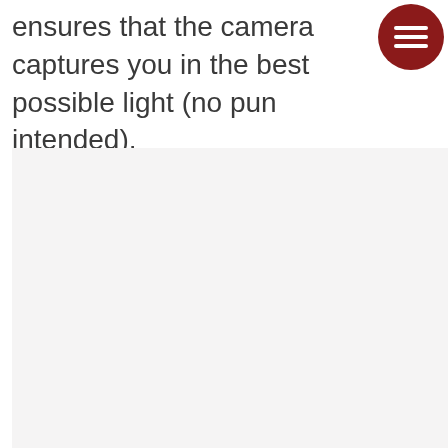ensures that the camera captures you in the best possible light (no pun intended).
[Figure (illustration): A light-colored rectangular placeholder image area with a slightly off-white/light gray background filling the lower portion of the page.]